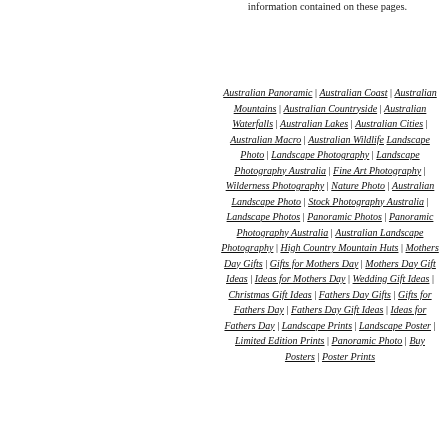information contained on these pages.
Australian Panoramic | Australian Coast | Australian Mountains | Australian Countryside | Australian Waterfalls | Australian Lakes | Australian Cities | Australian Macro | Australian Wildlife Landscape Photo | Landscape Photography | Landscape Photography Australia | Fine Art Photography | Wilderness Photography | Nature Photo | Australian Landscape Photo | Stock Photography Australia | Landscape Photos | Panoramic Photos | Panoramic Photography Australia | Australian Landscape Photography | High Country Mountain Huts | Mothers Day Gifts | Gifts for Mothers Day | Mothers Day Gift Ideas | Ideas for Mothers Day | Wedding Gift Ideas | Christmas Gift Ideas | Fathers Day Gifts | Gifts for Fathers Day | Fathers Day Gift Ideas | Ideas for Fathers Day | Landscape Prints | Landscape Poster | Limited Edition Prints | Panoramic Photo | Buy Posters | Poster Prints